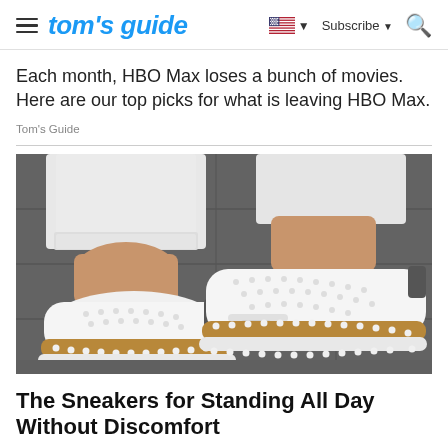tom's guide — Subscribe — Search
Each month, HBO Max loses a bunch of movies. Here are our top picks for what is leaving HBO Max.
Tom's Guide
[Figure (photo): Close-up photo of a person wearing white jeans and white perforated slip-on sneakers with tan/caramel-colored soles and small pearl/stud detailing along the edge, standing on a dark stone surface.]
The Sneakers for Standing All Day Without Discomfort